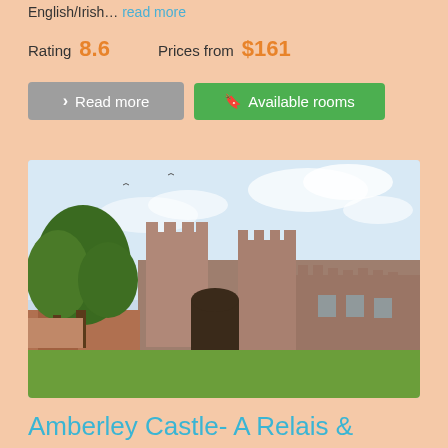English/Irish... read more
Rating 8.6   Prices from $161
Read more
Available rooms
[Figure (photo): Exterior photo of Amberley Castle showing stone battlements, twin round towers with crenellations, an arched gatehouse entry, green lawn in the foreground, and trees to the left under a partly cloudy sky.]
Amberley Castle- A Relais &